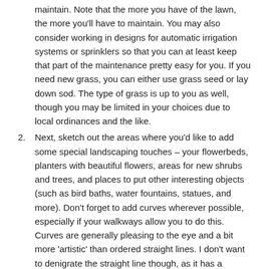maintain. Note that the more you have of the lawn, the more you'll have to maintain. You may also consider working in designs for automatic irrigation systems or sprinklers so that you can at least keep that part of the maintenance pretty easy for you. If you need new grass, you can either use grass seed or lay down sod. The type of grass is up to you as well, though you may be limited in your choices due to local ordinances and the like.
Next, sketch out the areas where you'd like to add some special landscaping touches – your flowerbeds, planters with beautiful flowers, areas for new shrubs and trees, and places to put other interesting objects (such as bird baths, water fountains, statues, and more). Don't forget to add curves wherever possible, especially if your walkways allow you to do this. Curves are generally pleasing to the eye and a bit more 'artistic' than ordered straight lines. I don't want to denigrate the straight line though, as it has a certain beauty to it all its own.